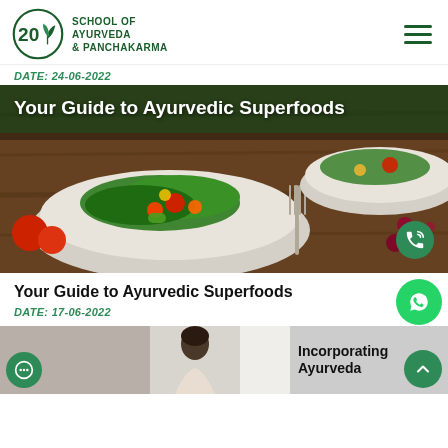SCHOOL OF AYURVEDA & PANCHAKARMA
DATE: 24-06-2022
[Figure (photo): Hero image showing bowls of colorful salad/superfoods with fork and dried berries on a wooden table, with overlay text 'Your Guide to Ayurvedic Superfoods']
Your Guide to Ayurvedic Superfoods
DATE: 17-06-2022
[Figure (photo): Bottom strip showing a woman and a panel with text 'Incorporating Ayurveda']